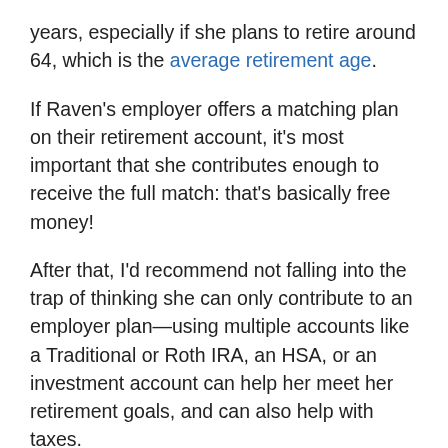years, especially if she plans to retire around 64, which is the average retirement age.
If Raven's employer offers a matching plan on their retirement account, it's most important that she contributes enough to receive the full match: that's basically free money!
After that, I'd recommend not falling into the trap of thinking she can only contribute to an employer plan—using multiple accounts like a Traditional or Roth IRA, an HSA, or an investment account can help her meet her retirement goals, and can also help with taxes.
OUR CFP® PROFESSIONAL'S RECOMMENDATION
Contribute to a 401(b) if possible, and consider...